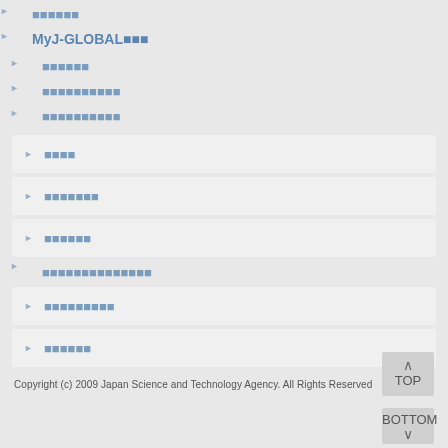■■■■■■
MyJ-GLOBAL■■■
■■■■■■
■■■■■■■■■■
■■■■■■■■■■
■■■■
■■■■■■■
■■■■■■
■■■■■■■■■■■■■■
■■■■■■■■■
■■■■■■
Copyright (c) 2009 Japan Science and Technology Agency. All Rights Reserved